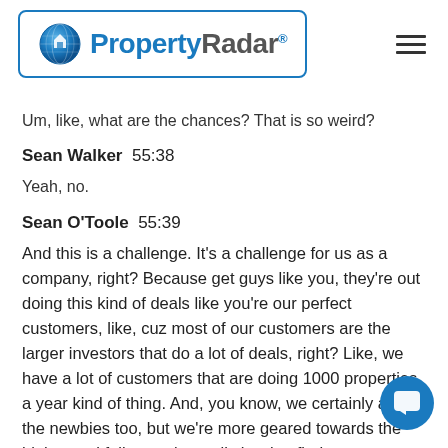[Figure (logo): PropertyRadar logo with globe icon inside a rounded rectangle border]
Um, like, what are the chances? That is so weird?
Sean Walker  55:38
Yeah, no.
Sean O'Toole  55:39
And this is a challenge. It's a challenge for us as a company, right? Because get guys like you, they're out doing this kind of deals like you're our perfect customers, like, cuz most of our customers are the larger investors that do a lot of deals, right? Like, we have a lot of customers that are doing 1000 properties a year kind of thing. And, you know, we certainly attract the newbies too, but we're more geared towards the higher end folks, you're really hard to find